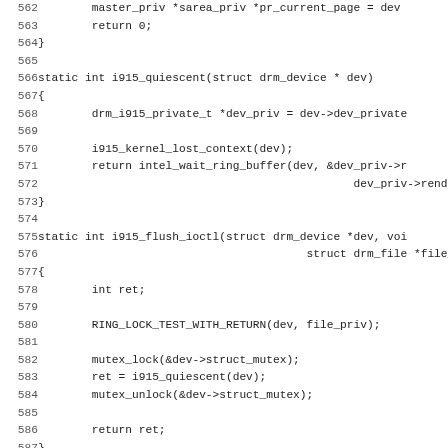[Figure (screenshot): Source code listing in C, lines 562-594, showing functions i915_quiescent, i915_flush_ioctl, and beginning of i915_batchbuffer for a DRM i915 kernel driver]